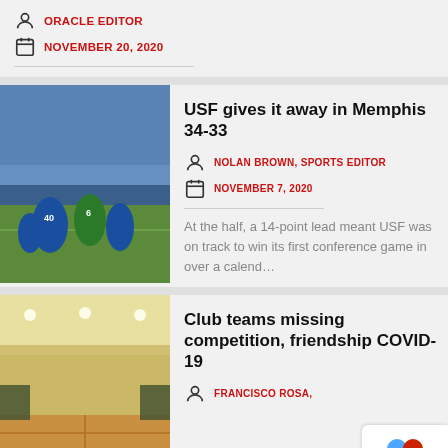ORACLE EDITOR
NOVEMBER 20, 2020
[Figure (photo): Football game action shot with players in blue and green uniforms on field]
USF gives it away in Memphis 34-33
NOLAN BROWN, SPORTS EDITOR
NOVEMBER 7, 2020
At the half, a 14-point lead meant USF was on track to win its first conference game in over a calend...
[Figure (photo): Indoor gymnasium with basketball court and overhead lighting]
Club teams missing competition, friendship COVID-19
FRANCISCO ROSA,